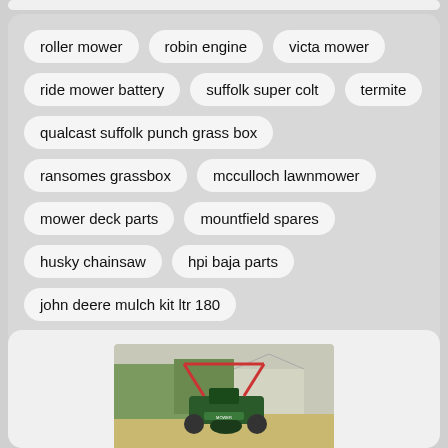roller mower
robin engine
victa mower
ride mower battery
suffolk super colt
termite
qualcast suffolk punch grass box
ransomes grassbox
mcculloch lawnmower
mower deck parts
mountfield spares
husky chainsaw
hpi baja parts
john deere mulch kit ltr 180
[Figure (photo): A green cylinder lawn mower photographed outdoors on a paved surface with plants in the background.]